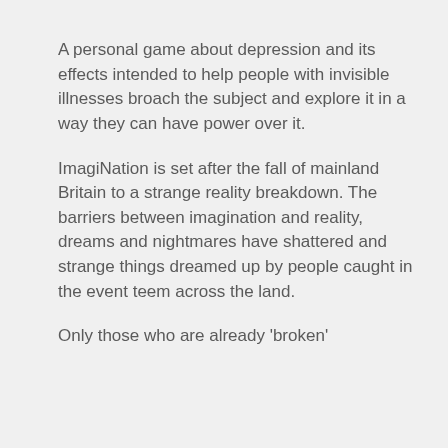A personal game about depression and its effects intended to help people with invisible illnesses broach the subject and explore it in a way they can have power over it.
ImagiNation is set after the fall of mainland Britain to a strange reality breakdown. The barriers between imagination and reality, dreams and nightmares have shattered and strange things dreamed up by people caught in the event teem across the land.
Only those who are already 'broken'